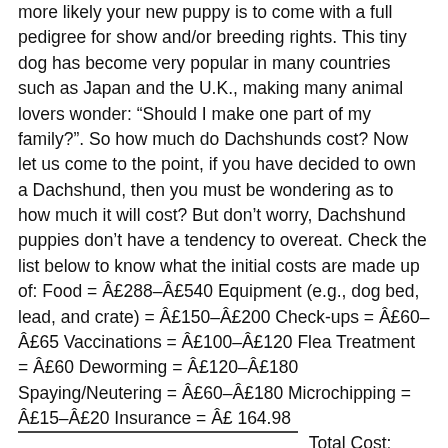more likely your new puppy is to come with a full pedigree for show and/or breeding rights. This tiny dog has become very popular in many countries such as Japan and the U.K., making many animal lovers wonder: “Should I make one part of my family?”. So how much do Dachshunds cost? Now let us come to the point, if you have decided to own a Dachshund, then you must be wondering as to how much it will cost? But don’t worry, Dachshund puppies don’t have a tendency to overeat. Check the list below to know what the initial costs are made up of: Food = £288–£540 Equipment (e.g., dog bed, lead, and crate) = £150–£200 Check-ups = £60–£65 Vaccinations = £100–£120 Flea Treatment = £60 Deworming = £120–£180 Spaying/Neutering = £60–£180 Microchipping = £15–£20 Insurance = £ 164.98 ——————————— Total Cost: approximately £1,018–£1,530. Licenses, which are mandatory in all states, vary in cost depending on state and county, but the average is about $8.50 to $30. Make sure your